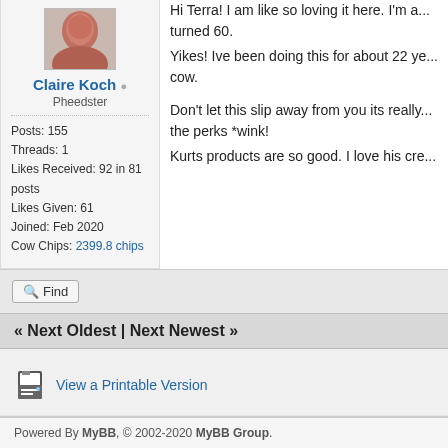[Figure (photo): User avatar photo - portrait image of a person]
Claire Koch
Pheedster
Posts: 155
Threads: 1
Likes Received: 92 in 81 posts
Likes Given: 61
Joined: Feb 2020
Cow Chips: 2399.8 chips
Hi Terra! I am like so loving it here. I'm a... turned 60.
Yikes! Ive been doing this for about 22 ye... cow.

Don't let this slip away from you its really... the perks *wink!
Kurts products are so good. I love his cre...
Find
« Next Oldest | Next Newest »
View a Printable Version
Powered By MyBB, © 2002-2020 MyBB Group.